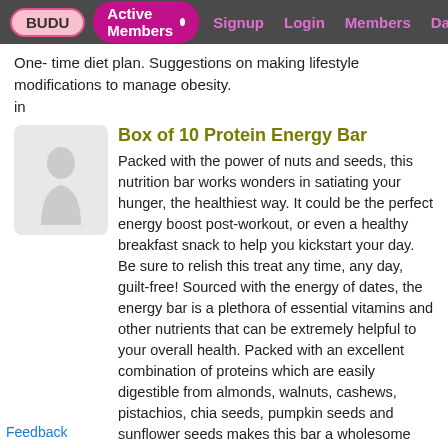BUDU | Active Members • | Signup | Login | Members | Dating
One- time diet plan. Suggestions on making lifestyle modifications to manage obesity.
in
Box of 10 Protein Energy Bar
[Figure (photo): Placeholder product image thumbnail, light gray background with faint figure silhouette]
Packed with the power of nuts and seeds, this nutrition bar works wonders in satiating your hunger, the healthiest way. It could be the perfect energy boost post-workout, or even a healthy breakfast snack to help you kickstart your day. Be sure to relish this treat any time, any day, guilt-free! Sourced with the energy of dates, the energy bar is a plethora of essential vitamins and other nutrients that can be extremely helpful to your overall health. Packed with an excellent combination of proteins which are easily digestible from almonds, walnuts, cashews, pistachios, chia seeds, pumpkin seeds and sunflower seeds makes this bar a wholesome vegan protein (essential amino acid combination) source. Paired with rolled oats and quinoa, which are extremely high in protein and fibre, our 'Snack A Protein' is all about health and goodness! No added
Feedback